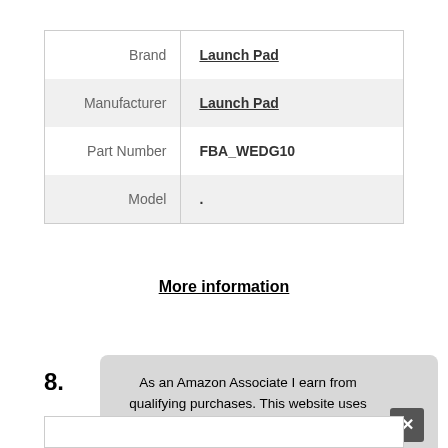|  |  |
| --- | --- |
| Brand | Launch Pad |
| Manufacturer | Launch Pad |
| Part Number | FBA_WEDG10 |
| Model | . |
More information
8.
As an Amazon Associate I earn from qualifying purchases. This website uses the only necessary cookies to ensure you get the best experience on our website. More information